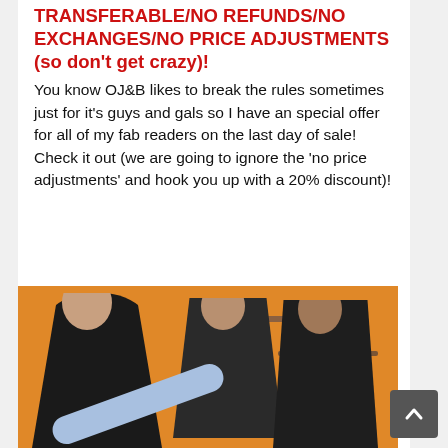TRANSFERABLE/NO REFUNDS/NO EXCHANGES/NO PRICE ADJUSTMENTS (so don't get crazy)!
You know OJ&B likes to break the rules sometimes just for it's guys and gals so I have an special offer for all of my fab readers on the last day of sale!  Check it out (we are going to ignore the 'no price adjustments' and hook you up with a 20% discount)!
[Figure (photo): Three young women in fashionable outfits against an orange background, one lounging with leg extended, holding colorful accessories]